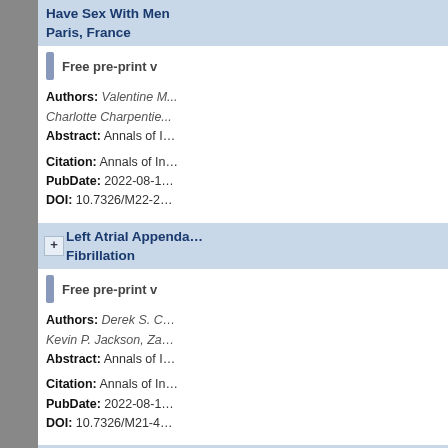Have Sex With Men ... Paris, France
Free pre-print v...
Authors: Valentine M... Charlotte Charpentie...
Abstract: Annals of I...
Citation: Annals of I...
PubDate: 2022-08-1...
DOI: 10.7326/M22-2...
Left Atrial Appenda... Fibrillation
Free pre-print v...
Authors: Derek S. C... Kevin P. Jackson, Za...
Abstract: Annals of I...
Citation: Annals of I...
PubDate: 2022-08-1...
DOI: 10.7326/M21-4...
Clinical Practice G... Blood and Biothera...
Free pre-print v...